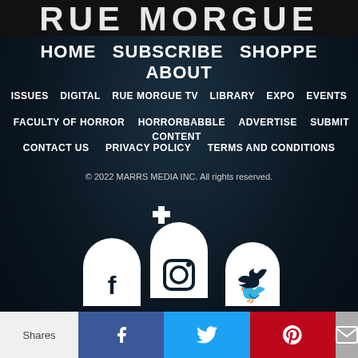[Figure (logo): Rue Morgue magazine logo text partially visible at top]
HOME
SUBSCRIBE
SHOPPE
ABOUT
ISSUES
DIGITAL
RUE MORGUE TV
LIBRARY
EXPO
EVENTS
FACULTY OF HORROR
HORRORBABBLE
ADVERTISE
SUBMIT CONTENT
CONTACT US
PRIVACY POLICY
TERMS AND CONDITIONS
© 2022 MARRS MEDIA INC. All rights reserved.
[Figure (illustration): Three tombstone-shaped social media icons: Facebook, Instagram, Twitter on a dark cemetery background]
Shares | Facebook share | Twitter share | Pinterest share | Email share